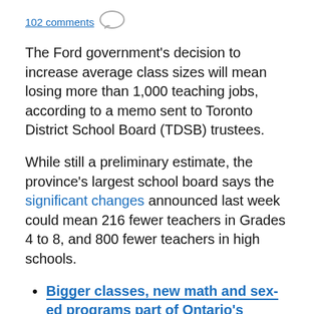102 comments
The Ford government's decision to increase average class sizes will mean losing more than 1,000 teaching jobs, according to a memo sent to Toronto District School Board (TDSB) trustees.
While still a preliminary estimate, the province's largest school board says the significant changes announced last week could mean 216 fewer teachers in Grades 4 to 8, and 800 fewer teachers in high schools.
Bigger classes, new math and sex-ed programs part of Ontario's education revamp
The government announced the changes to Ontario's education system on Friday, including increased